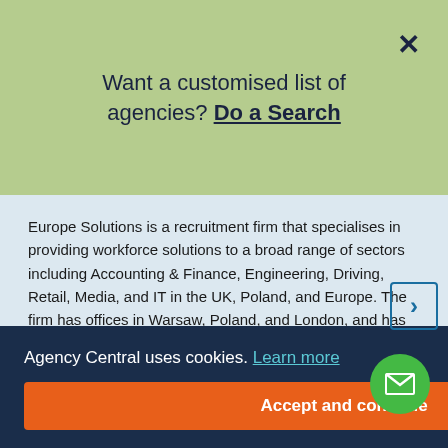Want a customised list of agencies? Do a Search
Europe Solutions is a recruitment firm that specialises in providing workforce solutions to a broad range of sectors including Accounting & Finance, Engineering, Driving, Retail, Media, and IT in the UK, Poland, and Europe. The firm has offices in Warsaw, Poland, and London, and has been operating since 2006. They recruit staff such as Hubspot Specialists, Civil Engineers, Reliability Application Engineers, and Business Development Managers.
University Of Nottingham (UNIP), Sir Colin Campbell Building, Triumph Rd, Nottingham, Nottinghamshire, NG7 2TU
Plus 1 additional office location
Agency Central uses cookies. Learn more
Accept and continue